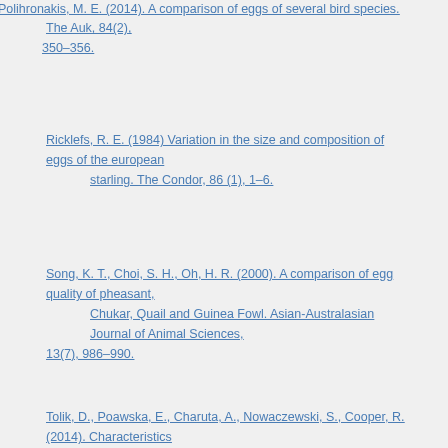Polihronakis, M. E. (2014). A comparison of eggs of several bird species. The Auk, 84(2), 350–356.
Ricklefs, R. E. (1984) Variation in the size and composition of eggs of the european starling. The Condor, 86 (1), 1–6.
Song, K. T., Choi, S. H., Oh, H. R. (2000). A comparison of egg quality of pheasant, Chukar, Quail and Guinea Fowl. Asian-Australasian Journal of Animal Sciences, 13(7), 986–990.
Tolik, D., Poawska, E., Charuta, A., Nowaczewski, S., Cooper, R. (2014). Characteristics